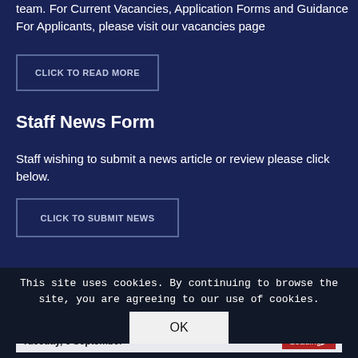team. For Current Vacancies, Application Forms and Guidance For Applicants, please visit our vacancies page
CLICK TO READ MORE
Staff News Form
Staff wishing to submit a news article or review please click below.
CLICK TO SUBMIT NEWS
This site uses cookies. By continuing to browse the site, you are agreeing to our use of cookies.
OK
Upcoming Events
Today  Wednesday  August  Print  Week
Tuesday, 6 September  Loading